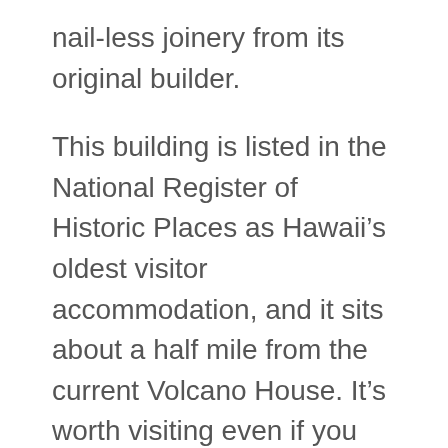nail-less joinery from its original builder.
This building is listed in the National Register of Historic Places as Hawaii's oldest visitor accommodation, and it sits about a half mile from the current Volcano House. It's worth visiting even if you are more interested the volcano, or more in architecture than art.
I have to say that as an art lover, I found this gallery to be a